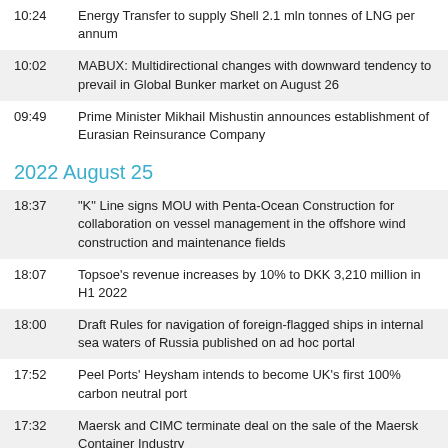10:24 Energy Transfer to supply Shell 2.1 mln tonnes of LNG per annum
10:02 MABUX: Multidirectional changes with downward tendency to prevail in Global Bunker market on August 26
09:49 Prime Minister Mikhail Mishustin announces establishment of Eurasian Reinsurance Company
2022 August 25
18:37 "K" Line signs MOU with Penta-Ocean Construction for collaboration on vessel management in the offshore wind construction and maintenance fields
18:07 Topsoe's revenue increases by 10% to DKK 3,210 million in H1 2022
18:00 Draft Rules for navigation of foreign-flagged ships in internal sea waters of Russia published on ad hoc portal
17:52 Peel Ports' Heysham intends to become UK's first 100% carbon neutral port
17:32 Maersk and CIMC terminate deal on the sale of the Maersk Container Industry
17:21 Svitzer's 'Aim for 8' tug speed initiative saves 1000 tonnes of CO2
17:17 Samus Shipbuilding and Repair Yard launches second barge built for Yenisei River Shipping Company